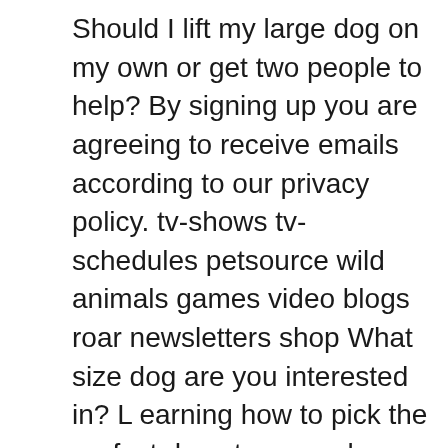Should I lift my large dog on my own or get two people to help? By signing up you are agreeing to receive emails according to our privacy policy. tv-shows tv-schedules petsource wild animals games video blogs roar newsletters shop What size dog are you interested in? L earning how to pick the perfect dog steps can be difficult for some owners. They pick these dogs up with their talons and fly to a different location to feed on them. When your dog brings the ball to you, ask him to drop it. Bend down towards your puppy: Place your hand under your dog's chest area with your fingers protruding in the front of the chest area, and palm of the hand supporting the rear part of the chest, behind the dog's front